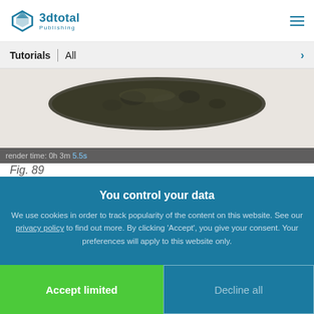3dtotal Publishing
Tutorials | All
[Figure (photo): Close-up photo of a dark stone or bone artifact on a white background, with a render time bar showing 'render time: 0h 3m 5.5s']
Fig. 89
You control your data
We use cookies in order to track popularity of the content on this website. See our privacy policy to find out more. By clicking 'Accept', you give your consent. Your preferences will apply to this website only.
Accept limited
Decline all